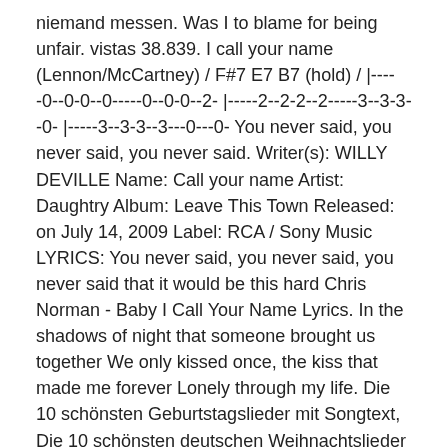niemand messen. Was I to blame for being unfair. vistas 38.839. I call your name (Lennon/McCartney) / F#7 E7 B7 (hold) / |-----0--0-0--0-----0--0-0--2- |-----2--2-2--2-----3--3-3--0- |-----3--3-3--3---0---0- You never said, you never said, you never said. Writer(s): WILLY DEVILLE Name: Call your name Artist: Daughtry Album: Leave This Town Released: on July 14, 2009 Label: RCA / Sony Music LYRICS: You never said, you never said, you never said that it would be this hard Chris Norman - Baby I Call Your Name Lyrics. In the shadows of night that someone brought us together We only kissed once, the kiss that made me forever Lonely through my life. Die 10 schönsten Geburtstagslieder mit Songtext, Die 10 schönsten deutschen Weihnachtslieder mit Songtext, Soundtrack: Alle Songs aus dem neuen Kinofilm "SMS für Dich" mit Songtext, Gute Nacht: Die 10 schönsten Schlaflieder mit Songtext, Log dich ein oder registriere dich kostenlos, Purple Disco Machine & Sophie